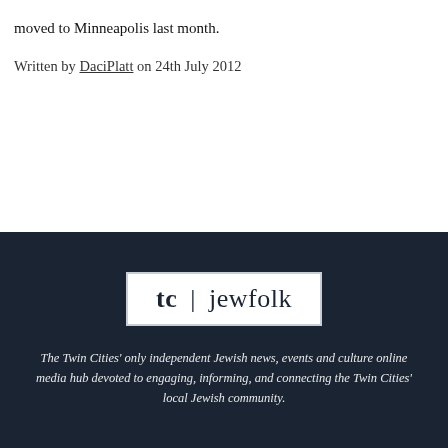moved to Minneapolis last month.
Written by DaciPlatt on 24th July 2012
[Figure (logo): tc | jewfolk logo — white background with border, bold 'tc' followed by pipe and 'jewfolk' in serif font]
The Twin Cities' only independent Jewish news, events and culture online media hub devoted to engaging, informing, and connecting the Twin Cities' local Jewish community.